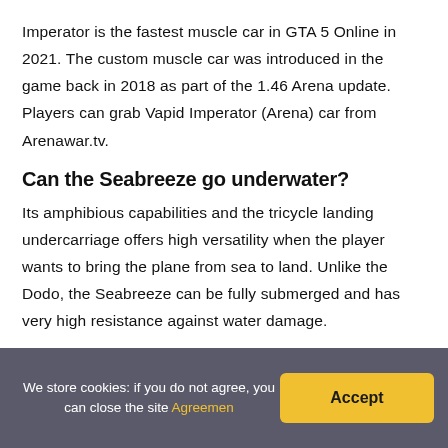Imperator is the fastest muscle car in GTA 5 Online in 2021. The custom muscle car was introduced in the game back in 2018 as part of the 1.46 Arena update. Players can grab Vapid Imperator (Arena) car from Arenawar.tv.
Can the Seabreeze go underwater?
Its amphibious capabilities and the tricycle landing undercarriage offers high versatility when the player wants to bring the plane from sea to land. Unlike the Dodo, the Seabreeze can be fully submerged and has very high resistance against water damage.
What is the declasse Impaler in real life?
Impaler in Real Life: The design of the Declasse Impaler is
We store cookies: if you do not agree, you can close the site Agreemen